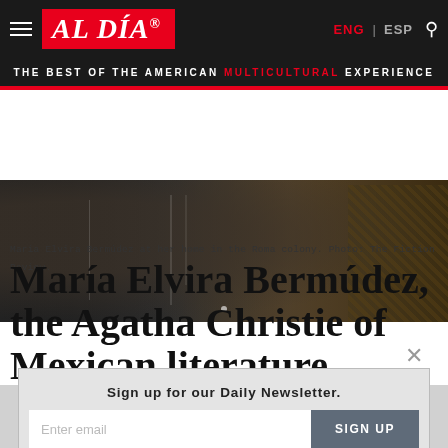AL DÍA — ENG | ESP — THE BEST OF THE AMERICAN MULTICULTURAL EXPERIENCE
[Figure (photo): María Elvira Bermúdez at her home in the Roma colony, black and white and sepia toned photograph]
Maria Elvira Bermúdez at her home in the Roma colony. Photo: The Fiction Review.
María Elvira Bermúdez, the Agatha Christie of Mexican literature
Sign up for our Daily Newsletter.
Enter email  SIGN UP